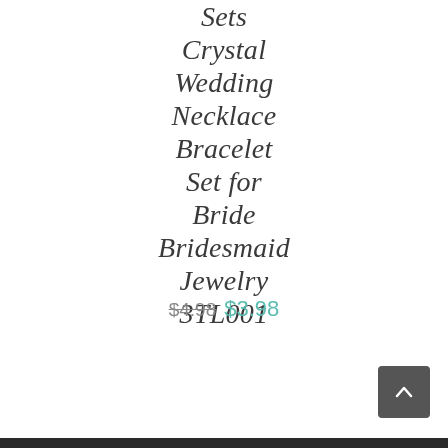Sets Crystal Wedding Necklace Bracelet Set for Bride Bridesmaid Jewelry 3TL001
$4.98  $3.98